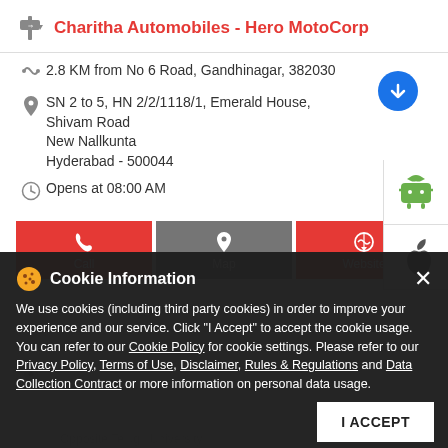Charitha Automobiles - Hero MotoCorp
2.8 KM from No 6 Road, Gandhinagar, 382030
SN 2 to 5, HN 2/2/1118/1, Emerald House, Shivam Road
New Nallkunta
Hyderabad - 500044
Opens at 08:00 AM
Call  Map  Website
Cookie Information
We use cookies (including third party cookies) in order to improve your experience and our service. Click "I Accept" to accept the cookie usage. You can refer to our Cookie Policy for cookie settings. Please refer to our Privacy Policy, Terms of Use, Disclaimer, Rules & Regulations and Data Collection Contract or more information on personal data usage.
DN 5/3328/8/9, Public Gardens, Chapel Rd
Nampally
Hyderabad - 500001
Opposite Telugu University